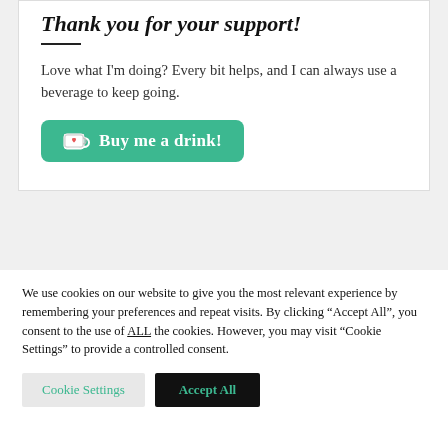Thank you for your support!
Love what I'm doing? Every bit helps, and I can always use a beverage to keep going.
[Figure (illustration): Green rounded button with coffee cup icon and heart, labeled 'Buy me a drink!']
We use cookies on our website to give you the most relevant experience by remembering your preferences and repeat visits. By clicking “Accept All”, you consent to the use of ALL the cookies. However, you may visit “Cookie Settings” to provide a controlled consent.
Cookie Settings | Accept All